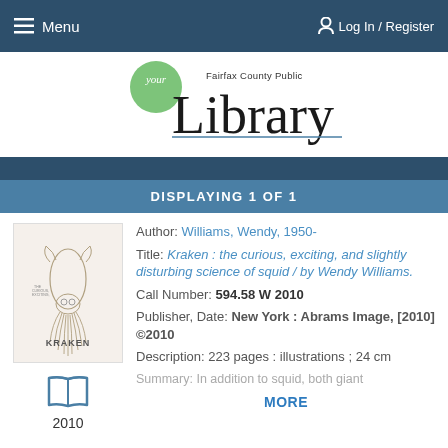Menu  |  Log In / Register
[Figure (logo): Fairfax County Public Library logo with 'your' in a green circle and 'Library' in large serif font]
DISPLAYING 1 OF 1
[Figure (illustration): Book cover for Kraken showing a detailed illustration of a squid on a white background with the title KRAKEN]
Author: Williams, Wendy, 1950-
Title: Kraken : the curious, exciting, and slightly disturbing science of squid / by Wendy Williams.
Call Number: 594.58 W 2010
Publisher, Date: New York : Abrams Image, [2010] ©2010
Description: 223 pages : illustrations ; 24 cm
Summary: In addition to squid, both giant
2010
MORE